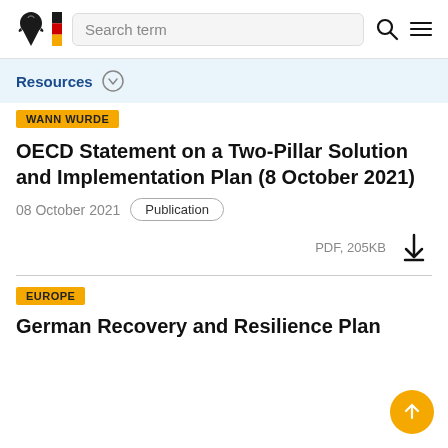Search term
Resources
WANN WURDE
OECD Statement on a Two-Pillar Solution and Implementation Plan (8 October 2021)
08 October 2021   Publication
PDF, 205KB
EUROPE
German Recovery and Resilience Plan